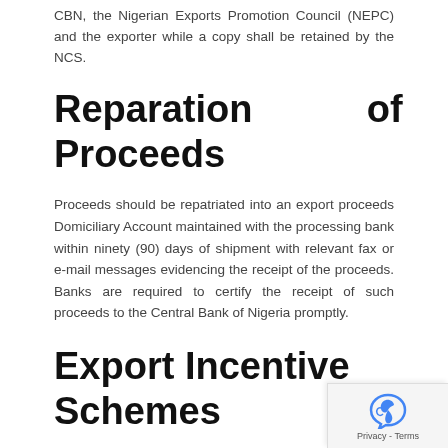CBN, the Nigerian Exports Promotion Council (NEPC) and the exporter while a copy shall be retained by the NCS.
Reparation of Export Proceeds
Proceeds should be repatriated into an export proceeds Domiciliary Account maintained with the processing bank within ninety (90) days of shipment with relevant fax or e-mail messages evidencing the receipt of the proceeds. Banks are required to certify the receipt of such proceeds to the Central Bank of Nigeria promptly.
Export Incentive Schemes
In the with the provisions of the 1999 Budget, the various export incentive schemes and funds will be consolidated to promote export of non-oil goods and services.